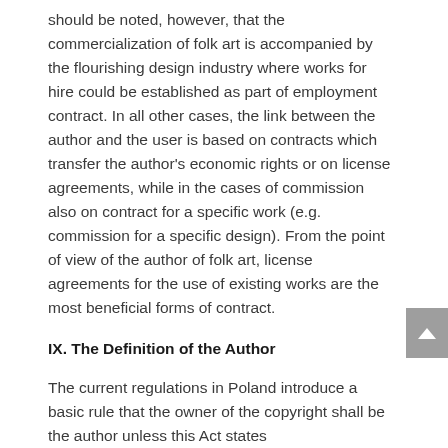should be noted, however, that the commercialization of folk art is accompanied by the flourishing design industry where works for hire could be established as part of employment contract. In all other cases, the link between the author and the user is based on contracts which transfer the author's economic rights or on license agreements, while in the cases of commission also on contract for a specific work (e.g. commission for a specific design). From the point of view of the author of folk art, license agreements for the use of existing works are the most beneficial forms of contract.
IX. The Definition of the Author
The current regulations in Poland introduce a basic rule that the owner of the copyright shall be the author unless this Act states